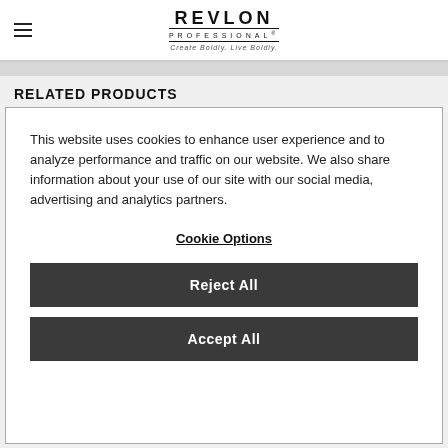REVLON PROFESSIONAL® — Create Boldly. Live Boldly.
RELATED PRODUCTS
This website uses cookies to enhance user experience and to analyze performance and traffic on our website. We also share information about your use of our site with our social media, advertising and analytics partners.
Cookie Options
Reject All
Accept All